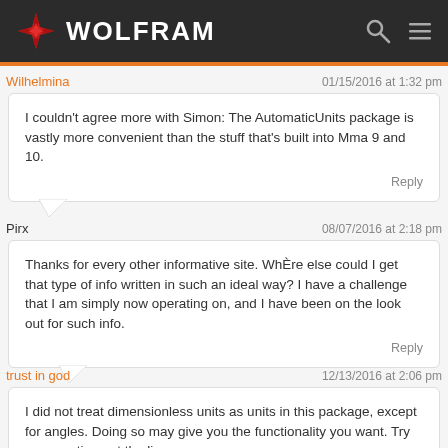WOLFRAM
Wilhelmina  01/15/2016 at 1:32 pm
I couldn't agree more with Simon: The AutomaticUnits package is vastly more convenient than the stuff that's built into Mma 9 and 10.
Pirx  08/07/2016 at 2:18 pm
Thanks for every other informative site. Whёre else could I get that type of info written in such an ideal way? I have a challenge that I am simply now operating on, and I have been on the look out for such info.
trust in god  12/13/2016 at 2:06 pm
I did not treat dimensionless units as units in this package, except for angles. Doing so may give you the functionality you want. Try commenting out the line
Mole = 6.0221367*10.^23
And add in to the SI.m declarations